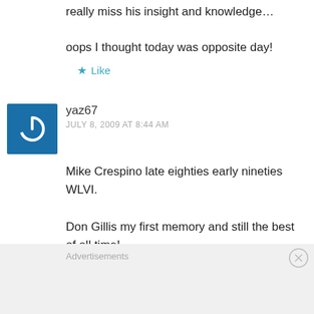really miss his insight and knowledge…

oops I thought today was opposite day!
★ Like
yaz67
JULY 8, 2009 AT 8:44 AM
Mike Crespino late eighties early nineties WLVI.

Don Gillis my first memory and still the best of all time!
Advertisements